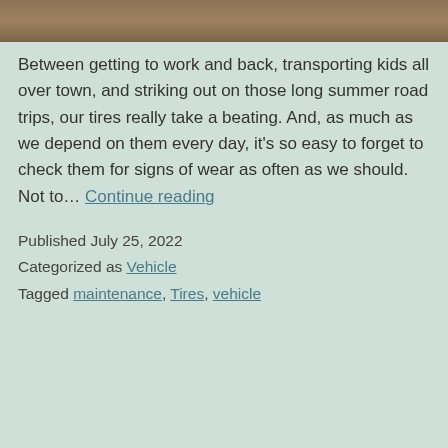[Figure (photo): Top strip of a photo showing a road or asphalt surface, cropped at the top of the page.]
Between getting to work and back, transporting kids all over town, and striking out on those long summer road trips, our tires really take a beating. And, as much as we depend on them every day, it's so easy to forget to check them for signs of wear as often as we should. Not to… Continue reading
Published July 25, 2022
Categorized as Vehicle
Tagged maintenance, Tires, vehicle